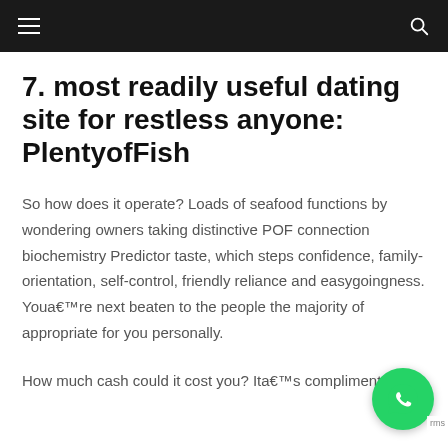≡  🔍
7. most readily useful dating site for restless anyone: PlentyofFish
So how does it operate? Loads of seafood functions by wondering owners taking distinctive POF connection biochemistry Predictor taste, which steps confidence, family-orientation, self-control, friendly reliance and easygoingness. Youa€™re next beaten to the people the majority of appropriate for you personally.
How much cash could it cost you? Ita€™s complimentary!